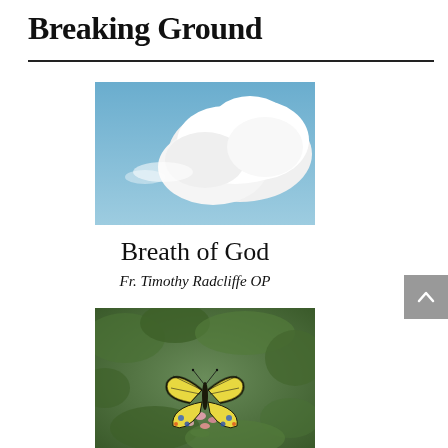Breaking Ground
[Figure (photo): Photo of a blue sky with a large white cloud]
Breath of God
Fr. Timothy Radcliffe OP
[Figure (photo): Photo of a swallowtail butterfly on pink flowers with green foliage background]